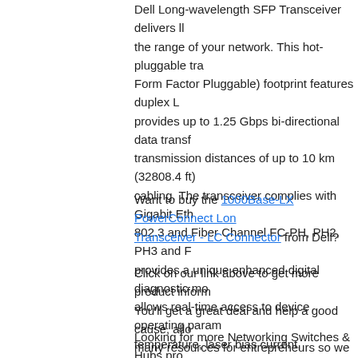Dell Long-wavelength SFP Transceiver delivers ll the range of your network. This hot-pluggable tra Form Factor Pluggable) footprint features duplex L provides up to 1.25 Gbps bi-directional data trans transmission distances of up to 10 km (32808.4 ft) cabling. The transceiver complies with Gigabit Eth 802.3 and Fiber Channel FC-PH, PH2, PH3 and F provides a unique enhanced digital diagnostic mo allows real-time access to device operating param temperature, laser bias current, transmitted optica power and transceiver supply voltage. This produ validated on Dell systems to ensure it will work wi compatible with Dell PowerConnect switch. It is su Support when used with...
Want to buy the 1000Base-LX PowerConnect Long Transceiver - LC Connector from Dell?
Click on our link above to get more product inform You'll get a great deal and help a good cause, all many resources for entrepreneurs so we can help you.
Looking for more Networking Switches & Hubs pro 1000Base-SX Gigabit Ethernet Port Interface Mod Another product to consider is the Enterasys 1000 LC Connector.